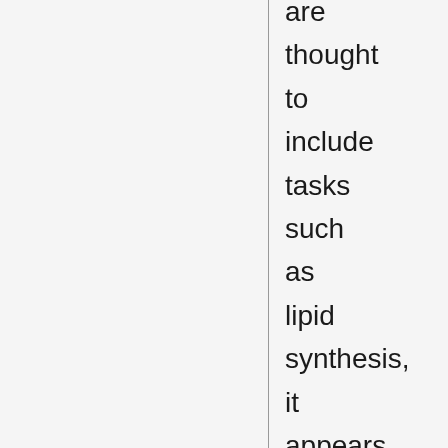are thought to include tasks such as lipid synthesis, it appears to be necessary for survival.